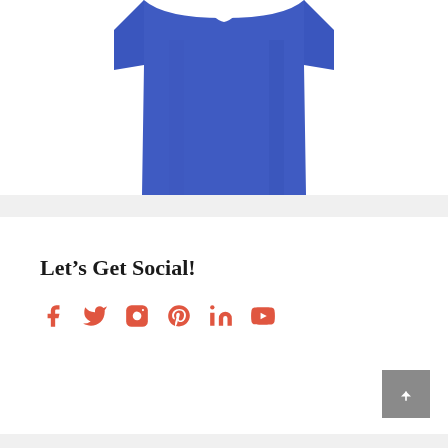[Figure (photo): Blue t-shirt product image, lower portion visible showing the body and bottom hem of a royal blue short-sleeve t-shirt on a white background]
Let’s Get Social!
[Figure (infographic): Row of six social media icons in red/coral color: Facebook, Twitter, Instagram, Pinterest, LinkedIn, YouTube]
[Figure (other): Back to top button, dark gray square with upward arrow icon]